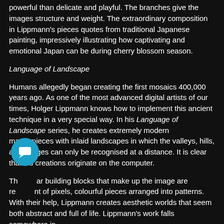powerful than delicate and playful. The branches give the images structure and weight. The extraordinary composition in Lippmann's pieces quotes from traditional Japanese painting, impressively illustrating how captivating and emotional Japan can be during cherry blossom season.
Language of Landscape
Humans allegedly began creating the first mosaics 400,000 years ago. As one of the most advanced digital artists of our times, Holger Lippmann knows how to implement this ancient technique in a very special way. In his Language of Landscape series, he creates extremely modern masterpieces with inlaid landscapes in which the valleys, hills, and villages can only be recognised at a distance. It is clear that his creations originate on the computer.
Theular building blocks that make up the image are reminiscent of pixels, colourful pieces arranged into patterns. With their help, Lippmann creates aesthetic worlds that seem both abstract and full of life. Lippmann's work falls somewhere in